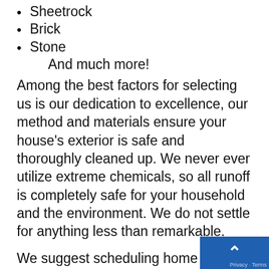Sheetrock
Brick
Stone
And much more!
Among the best factors for selecting us is our dedication to excellence, our method and materials ensure your house's exterior is safe and thoroughly cleaned up. We never ever utilize extreme chemicals, so all runoff is completely safe for your household and the environment. We do not settle for anything less than remarkable.
We suggest scheduling home washing in Rockbank on a seasonal basis in order to start out the brand-new season on the right foot, weather condition and rainfall are huge elements that affect your home's outside, so keeping top of things with regular washings is an excellent idea.